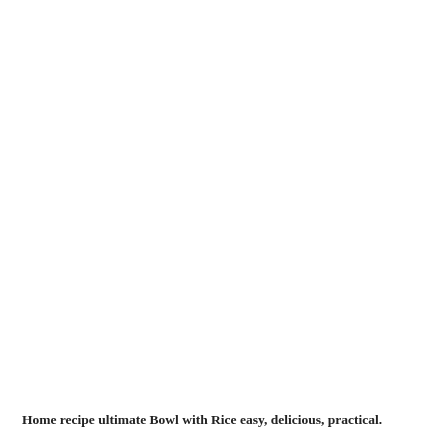Home recipe ultimate Bowl with Rice easy, delicious, practical.